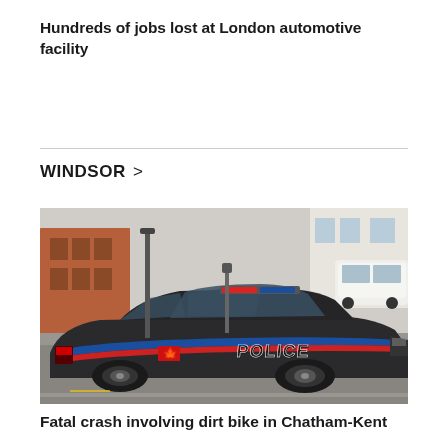Hundreds of jobs lost at London automotive facility
WINDSOR >
[Figure (photo): A dark-colored police cruiser (Dodge Charger style) with red and blue stripe graphics and 'POLICE' lettering on the side, parked on a street with buildings and another vehicle visible in the background.]
Fatal crash involving dirt bike in Chatham-Kent